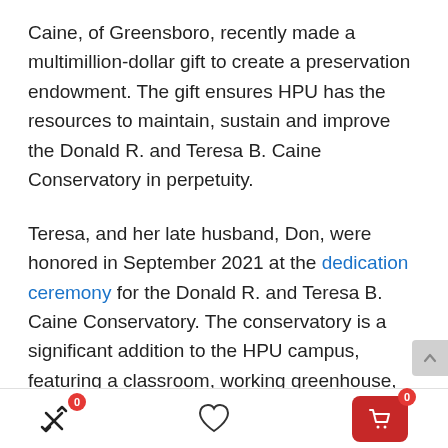Caine, of Greensboro, recently made a multimillion-dollar gift to create a preservation endowment. The gift ensures HPU has the resources to maintain, sustain and improve the Donald R. and Teresa B. Caine Conservatory in perpetuity.
Teresa, and her late husband, Don, were honored in September 2021 at the dedication ceremony for the Donald R. and Teresa B. Caine Conservatory. The conservatory is a significant addition to the HPU campus, featuring a classroom, working greenhouse, the Butterfly Café eatery and a planting display space. The conservatory serves as an area for students to conduct botanical research and